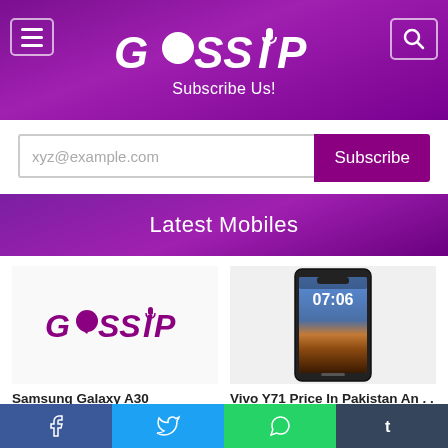GOSSIP
Subscribe Us!
xyz@example.com  Subscribe
Latest Mobiles
[Figure (logo): GOSSIP logo (small, purple) used as placeholder image for Samsung Galaxy A30 product card]
Samsung Galaxy A30
Brand: SAMSUNG
Rs.37,999
[Figure (photo): Vivo Y71 smartphone photo showing lock screen with time 07:06 and desert wallpaper]
Vivo Y71 Price In Pakistan An . . .
Brand: VIVO
Rs.19,999
Facebook  Twitter  WhatsApp  Tumblr